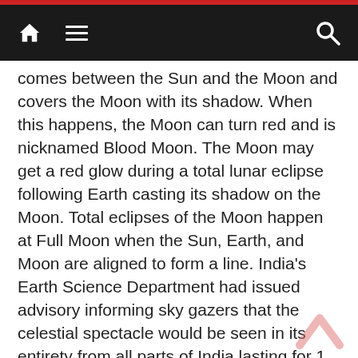Navigation bar with home, menu, and search icons
comes between the Sun and the Moon and covers the Moon with its shadow. When this happens, the Moon can turn red and is nicknamed Blood Moon. The Moon may get a red glow during a total lunar eclipse following Earth casting its shadow on the Moon. Total eclipses of the Moon happen at Full Moon when the Sun, Earth, and Moon are aligned to form a line. India's Earth Science Department had issued advisory informing sky gazers that the celestial spectacle would be seen in its entirety from all parts of India lasting for 1 hour 43 minutes making it the longest total lunar eclipse of this century from 2001 AD to 2100 AD. No extra eye cover was necessary to watch the rare phenomenon. The total eclipse lasted 1 hour, 42 minutes and 57 seconds, though a partial eclipse